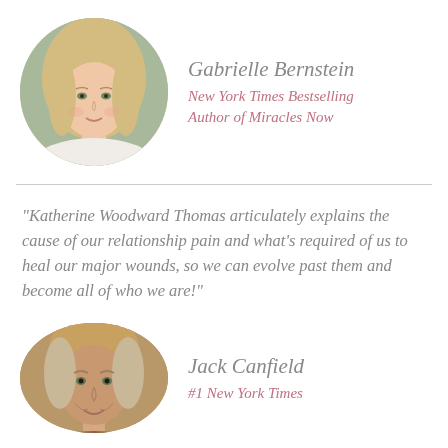[Figure (photo): Circular portrait photo of Gabrielle Bernstein, a woman with long blonde wavy hair wearing a white top, photographed outdoors with green background]
Gabrielle Bernstein
New York Times Bestselling Author of Miracles Now
“Katherine Woodward Thomas articulately explains the cause of our relationship pain and what’s required of us to heal our major wounds, so we can evolve past them and become all of who we are!”
[Figure (photo): Circular portrait photo of Jack Canfield, an older man with gray-blonde hair, photographed with warm tones]
Jack Canfield
#1 New York Times